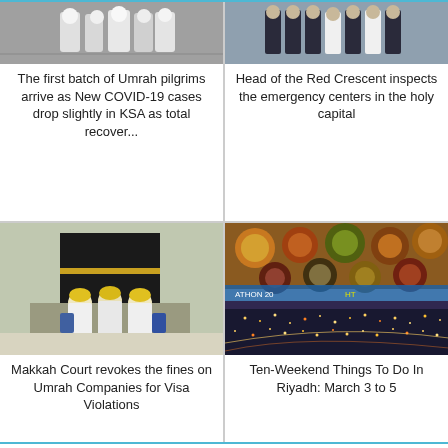[Figure (photo): Umrah pilgrims photo, top left card]
The first batch of Umrah pilgrims arrive as New COVID-19 cases drop slightly in KSA as total recover...
[Figure (photo): Red Crescent personnel photo, top right card]
Head of the Red Crescent inspects the emergency centers in the holy capital
[Figure (photo): Pilgrims near Kaaba in Makkah photo, bottom left card]
Makkah Court revokes the fines on Umrah Companies for Visa Violations
[Figure (photo): Collage of Riyadh city and food, bottom right card]
Ten-Weekend Things To Do In Riyadh: March 3 to 5